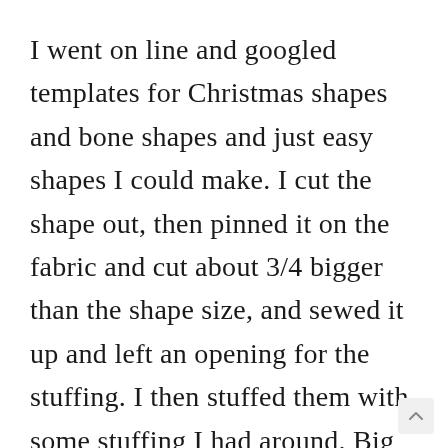I went on line and googled templates for Christmas shapes and bone shapes and just easy shapes I could make. I cut the shape out, then pinned it on the fabric and cut about 3/4 bigger than the shape size, and sewed it up and left an opening for the stuffing. I then stuffed them with some stuffing I had around. Big enough for the lab, Haily, to carry in her mouth. I made them out of Xmas fabric. Very easy. These are for her for Christmas. We love